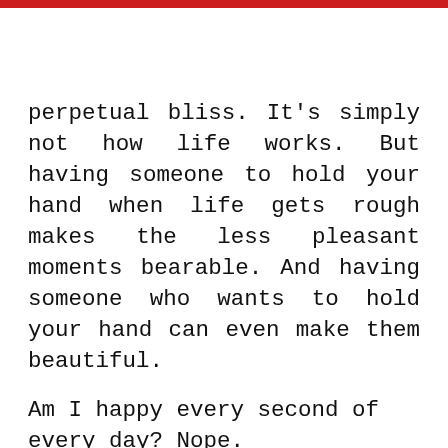Lily Dobb
perpetual bliss. It's simply not how life works. But having someone to hold your hand when life gets rough makes the less pleasant moments bearable. And having someone who wants to hold your hand can even make them beautiful.
Am I happy every second of every day? Nope.
But I am happy! My life is filled with joy, and wonder, and love, and I have